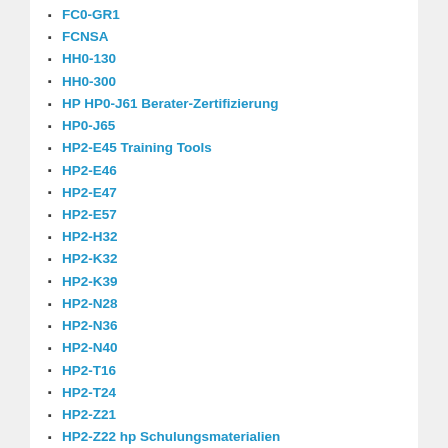FC0-GR1
FCNSA
HH0-130
HH0-300
HP HP0-J61 Berater-Zertifizierung
HP0-J65
HP2-E45 Training Tools
HP2-E46
HP2-E47
HP2-E57
HP2-H32
HP2-K32
HP2-K39
HP2-N28
HP2-N36
HP2-N40
HP2-T16
HP2-T24
HP2-Z21
HP2-Z22 hp Schulungsmaterialien
HP2-Z26 hp Software Download
HP2-Z27